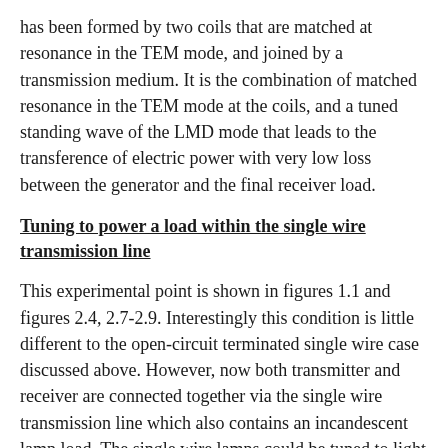has been formed by two coils that are matched at resonance in the TEM mode, and joined by a transmission medium. It is the combination of matched resonance in the TEM mode at the coils, and a tuned standing wave of the LMD mode that leads to the transference of electric power with very low loss between the generator and the final receiver load.
Tuning to power a load within the single wire transmission line
This experimental point is shown in figures 1.1 and figures 2.4, 2.7-2.9. Interestingly this condition is little different to the open-circuit terminated single wire case discussed above. However, now both transmitter and receiver are connected together via the single wire transmission line which also contains an incandescent lamp load. The single wire lamps could be tuned to light fully at either the lower or upper resonant frequencies of the combined secondary coils, with no or very little power dissipated in the final load at the receiver